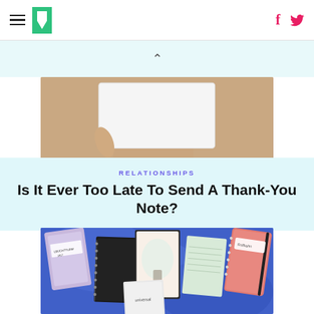HuffPost navigation with hamburger menu, logo, Facebook and Twitter icons
[Figure (photo): A hand holding a white card or envelope, close-up shot with warm tones]
RELATIONSHIPS
Is It Ever Too Late To Send A Thank-You Note?
[Figure (photo): A collection of notebooks and journals including Leuchtturm1917, Rollbahn, Universal, and a floral illustrated notebook arranged on a blue tie-dye background]